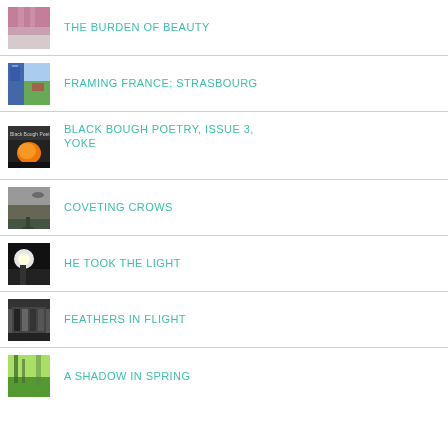THE BURDEN OF BEAUTY
FRAMING FRANCE; STRASBOURG
BLACK BOUGH POETRY, ISSUE 3, YOKE
COVETING CROWS
HE TOOK THE LIGHT
FEATHERS IN FLIGHT
A SHADOW IN SPRING